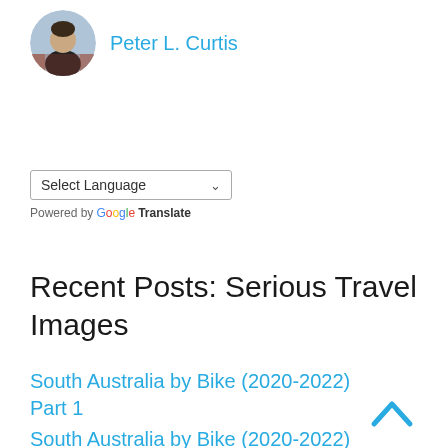[Figure (photo): Circular avatar photo of a person in a black jacket with a European town background]
Peter L. Curtis
Select Language  ∨
Powered by Google Translate
Recent Posts: Serious Travel Images
South Australia by Bike (2020-2022) Part 1
South Australia by Bike (2020-2022) Part 2